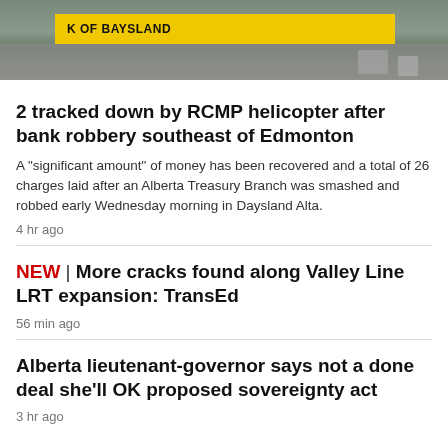[Figure (photo): Top portion of a news photo showing a yellow barrier or beam with text 'OF BAYSLAND' visible, set against a gravel/construction background.]
2 tracked down by RCMP helicopter after bank robbery southeast of Edmonton
A "significant amount" of money has been recovered and a total of 26 charges laid after an Alberta Treasury Branch was smashed and robbed early Wednesday morning in Daysland Alta.
4 hr ago
NEW | More cracks found along Valley Line LRT expansion: TransEd
56 min ago
Alberta lieutenant-governor says not a done deal she'll OK proposed sovereignty act
3 hr ago